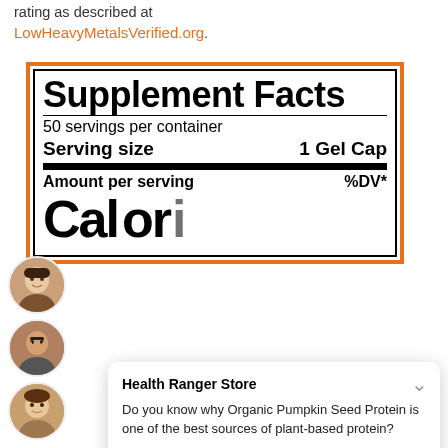rating as described at LowHeavyMetalsVerified.org.
[Figure (other): Supplement Facts label showing: 50 servings per container, Serving size 1 Gel Cap, Amount per serving, %DV*, with partial Calories row visible]
Health Ranger Store
Do you know why Organic Pumpkin Seed Protein is one of the best sources of plant-based protein?
[Tell Me More!] [Maybe later.]